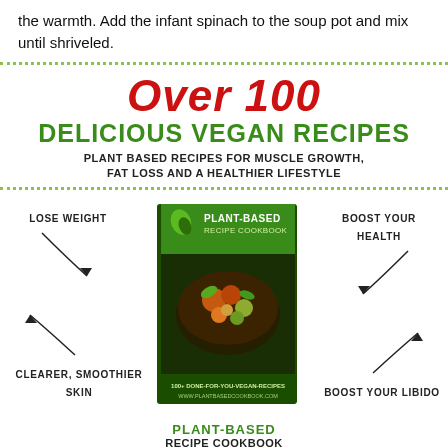the warmth. Add the infant spinach to the soup pot and mix until shriveled.
[Figure (infographic): Advertisement for Plant-Based Recipe Cookbook. Large red italic text 'Over 100', green bold 'DELICIOUS VEGAN RECIPES', subtitle 'PLANT BASED RECIPES FOR MUSCLE GROWTH, FAT LOSS AND A HEALTHIER LIFESTYLE'. Center shows book cover image. Four labels around the book: LOSE WEIGHT (top-left), BOOST YOUR HEALTH (top-right), CLEARER, SMOOTHIER SKIN (bottom-left), BOOST YOUR LIBIDO (bottom-right). Below: PLANT-BASED RECIPE COOKBOOK, www.plantbasedcookbook.com, green CLICK HERE button. Dotted green border top and bottom of ad.]